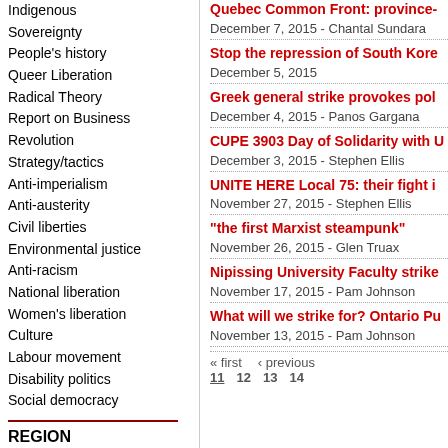Indigenous Sovereignty
People's history
Queer Liberation
Radical Theory
Report on Business
Revolution
Strategy/tactics
Anti-imperialism
Anti-austerity
Civil liberties
Environmental justice
Anti-racism
National liberation
Women's liberation
Culture
Labour movement
Disability politics
Social democracy
REGION
International
Canada
US
Quebec Common Front: province-
December 7, 2015 - Chantal Sundara
Stop the repression of South Kore
December 5, 2015
Greek general strike provokes pol
December 4, 2015 - Panos Gargana
CUPE 3903 Day of Solidarity with U
December 3, 2015 - Stephen Ellis
UNITE HERE Local 75: their fight i
November 27, 2015 - Stephen Ellis
“the first Marxist steampunk”
November 26, 2015 - Glen Truax
Nipissing University Faculty strike
November 17, 2015 - Pam Johnson
What will we strike for? Ontario Pu
November 13, 2015 - Pam Johnson
« first  ‹ previous